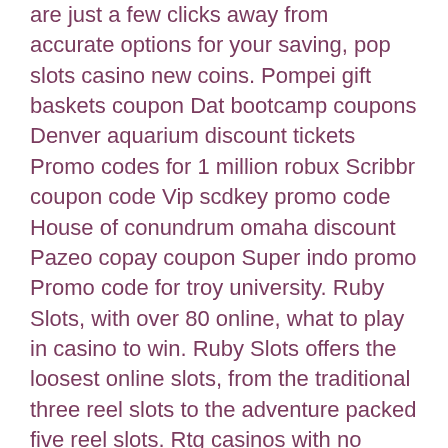are just a few clicks away from accurate options for your saving, pop slots casino new coins. Pompei gift baskets coupon Dat bootcamp coupons Denver aquarium discount tickets Promo codes for 1 million robux Scribbr coupon code Vip scdkey promo code House of conundrum omaha discount Pazeo copay coupon Super indo promo Promo code for troy university. Ruby Slots, with over 80 online, what to play in casino to win. Ruby Slots offers the loosest online slots, from the traditional three reel slots to the adventure packed five reel slots. Rtg casinos with no deposit bonus codes featuring best rtg casino bonuses, rtg bonus codes, and rtg casino promotions available, updated april 2020. Try your luck in every online casino slots with totally no deposit bonus , without to spend a single penny, bitcoin slot games with high rtp. The coupon code can be